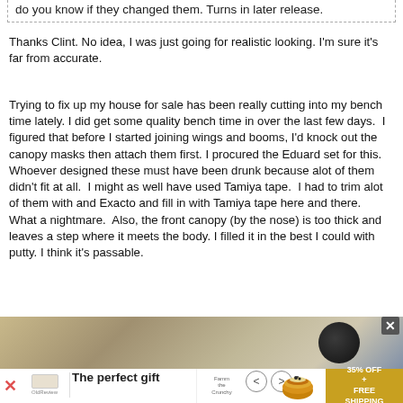do you know if they changed them. Turns in later release.
Thanks Clint. No idea, I was just going for realistic looking. I'm sure it's far from accurate.
Trying to fix up my house for sale has been really cutting into my bench time lately. I did get some quality bench time in over the last few days.  I figured that before I started joining wings and booms, I'd knock out the canopy masks then attach them first. I procured the Eduard set for this. Whoever designed these must have been drunk because alot of them didn't fit at all.  I might as well have used Tamiya tape.  I had to trim alot of them with and Exacto and fill in with Tamiya tape here and there.  What a nightmare.  Also, the front canopy (by the nose) is too thick and leaves a step where it meets the body. I filled it in the best I could with putty. I think it's passable.
[Figure (photo): Photo of model aircraft parts on a workbench, with a dark cup/container visible]
The perfect gift
35% OFF + FREE SHIPPING